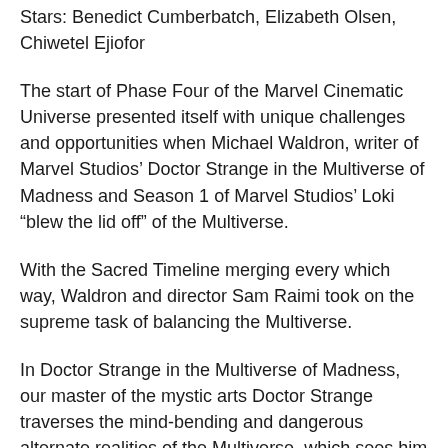Stars: Benedict Cumberbatch, Elizabeth Olsen, Chiwetel Ejiofor
The start of Phase Four of the Marvel Cinematic Universe presented itself with unique challenges and opportunities when Michael Waldron, writer of Marvel Studios' Doctor Strange in the Multiverse of Madness and Season 1 of Marvel Studios' Loki “blew the lid off” of the Multiverse.
With the Sacred Timeline merging every which way, Waldron and director Sam Raimi took on the supreme task of balancing the Multiverse.
In Doctor Strange in the Multiverse of Madness, our master of the mystic arts Doctor Strange traverses the mind-bending and dangerous alternate realities of the Multiverse, which sees him crossing paths with the Sorcerer Supreme Wong, Wanda